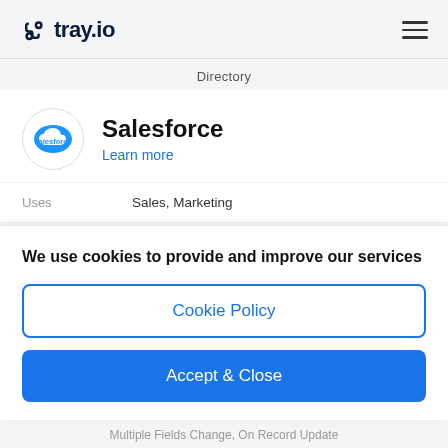[Figure (logo): tray.io logo with chain-link icon and hamburger menu on the right]
Directory
Salesforce
Learn more
Uses: Sales, Marketing
Category: Customer Relationship Management (CRM)
We use cookies to provide and improve our services
Cookie Policy
Accept & Close
Multiple Fields Change, On Record Update